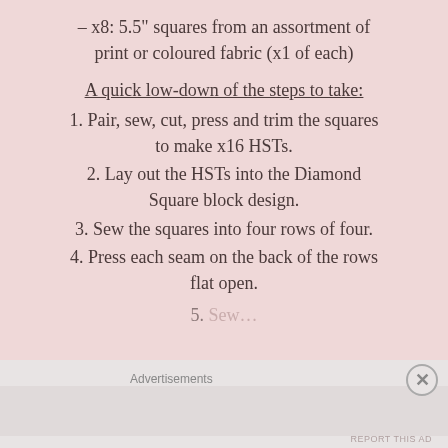– x8: 5.5" squares from an assortment of print or coloured fabric (x1 of each)
A quick low-down of the steps to take:
1. Pair, sew, cut, press and trim the squares to make x16 HSTs.
2. Lay out the HSTs into the Diamond Square block design.
3. Sew the squares into four rows of four.
4. Press each seam on the back of the rows flat open.
5. [partially visible]
Advertisements